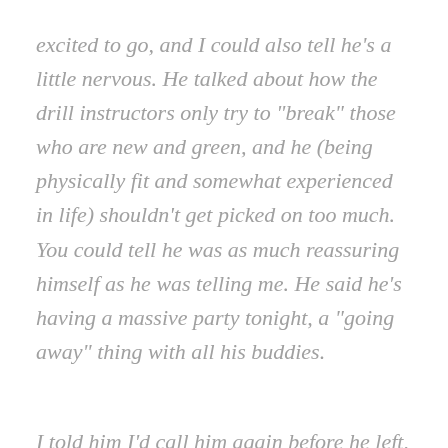excited to go, and I could also tell he's a little nervous. He talked about how the drill instructors only try to “break” those who are new and green, and he (being physically fit and somewhat experienced in life) shouldn’t get picked on too much. You could tell he was as much reassuring himself as he was telling me. He said he’s having a massive party tonight, a “going away” thing with all his buddies.
I told him I’d call him again before he left, I really enjoyed talking to him. OK, I’m off. Peace.